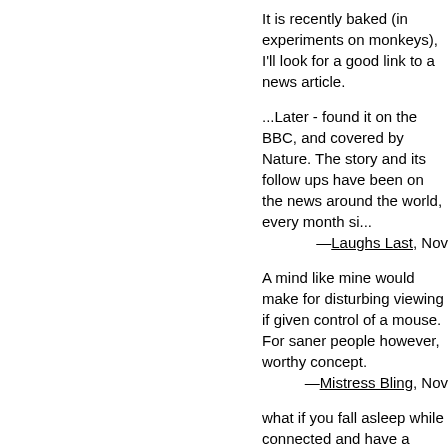It is recently baked (in experiments on monkeys), I'll look for a good link to a news article.
...Later - found it on the BBC, and covered by Nature. The story and its follow ups have been on the news around the world, every month since.
—Laughs Last, Nov
A mind like mine would make for disturbing viewing if given control of a mouse. For saner people however, worthy concept.
—Mistress Bling, Nov
what if you fall asleep while connected and have a "bad" dream?
—dickity, Nov
This is kind of like the device Stephen Hawking is connected to to talk with, only it translates thought into mo...
—Condiment, Nov